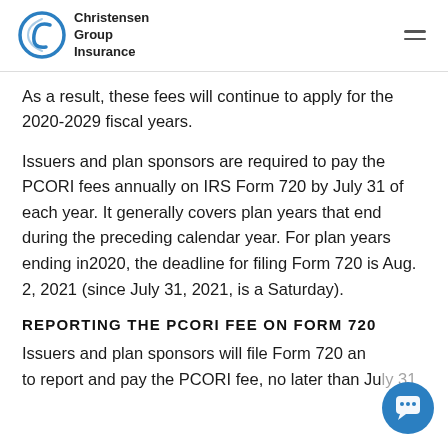Christensen Group Insurance
As a result, these fees will continue to apply for the 2020-2029 fiscal years.
Issuers and plan sponsors are required to pay the PCORI fees annually on IRS Form 720 by July 31 of each year. It generally covers plan years that end during the preceding calendar year. For plan years ending in2020, the deadline for filing Form 720 is Aug. 2, 2021 (since July 31, 2021, is a Saturday).
REPORTING THE PCORI FEE ON FORM 720
Issuers and plan sponsors will file Form 720 and to report and pay the PCORI fee, no later than July 31